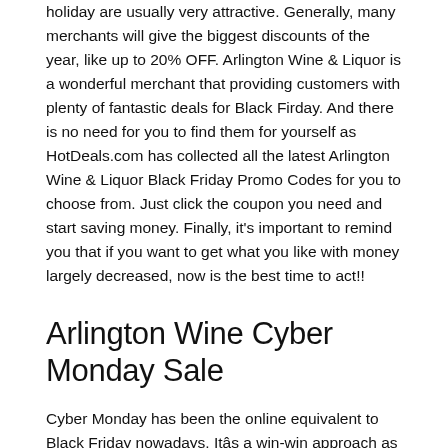holiday are usually very attractive. Generally, many merchants will give the biggest discounts of the year, like up to 20% OFF. Arlington Wine & Liquor is a wonderful merchant that providing customers with plenty of fantastic deals for Black Firday. And there is no need for you to find them for yourself as HotDeals.com has collected all the latest Arlington Wine & Liquor Black Friday Promo Codes for you to choose from. Just click the coupon you need and start saving money. Finally, it's important to remind you that if you want to get what you like with money largely decreased, now is the best time to act!!
Arlington Wine Cyber Monday Sale
Cyber Monday has been the online equivalent to Black Friday nowadays. Itâs a win-win approach as consumers can grab